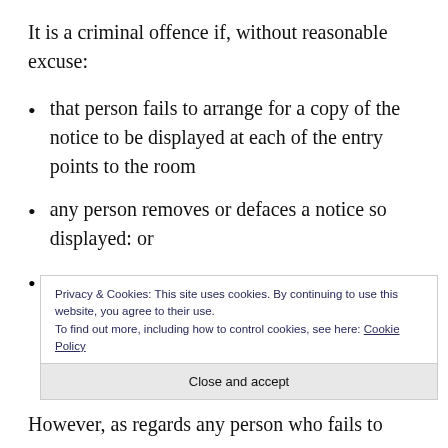It is a criminal offence if, without reasonable excuse:
that person fails to arrange for a copy of the notice to be displayed at each of the entry points to the room
any person removes or defaces a notice so displayed: or
(partial, cut off by overlay)
However, as regards any person who fails to
[Figure (screenshot): Cookie consent banner overlay reading: 'Privacy & Cookies: This site uses cookies. By continuing to use this website, you agree to their use. To find out more, including how to control cookies, see here: Cookie Policy' with a 'Close and accept' button.]